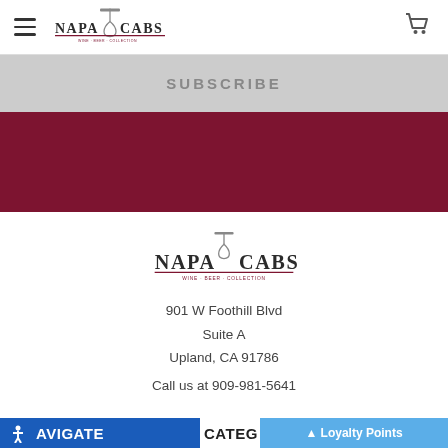NAPA CABS — navigation bar with hamburger menu and cart icon
SUBSCRIBE
[Figure (logo): Napa Cabs wine label logo — centered footer logo]
901 W Foothill Blvd
Suite A
Upland, CA 91786
Call us at 909-981-5641
NAVIGATE   CATEG   Loyalty Points